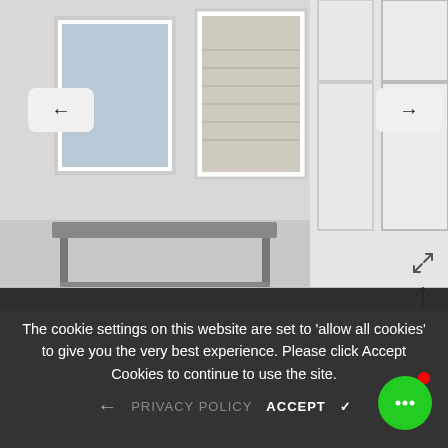[Figure (photo): Interior gallery or showroom scene with white walls, two framed artworks (one portrait white frame, one landscape beige/linen panel), large windows on right, and a grey metal bench in foreground. Navigation arrows (left and right) and expand/scroll icons overlaid on image.]
The cookie settings on this website are set to 'allow all cookies' to give you the very best experience. Please click Accept Cookies to continue to use the site.
PRIVACY POLICY   ACCEPT ✓